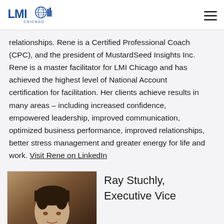LMI Chicago
relationships. Rene is a Certified Professional Coach (CPC), and the president of MustardSeed Insights Inc. Rene is a master facilitator for LMI Chicago and has achieved the highest level of National Account certification for facilitation. Her clients achieve results in many areas – including increased confidence, empowered leadership, improved communication, optimized business performance, improved relationships, better stress management and greater energy for life and work. Visit Rene on LinkedIn
[Figure (photo): Headshot photo of Ray Stuchly, a man with dark hair against a brown background]
Ray Stuchly, Executive Vice